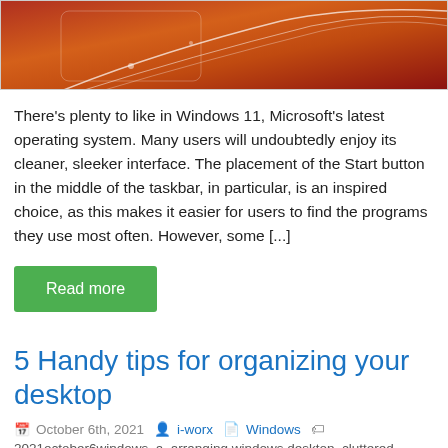[Figure (photo): Cropped top portion of a Windows 11 keyboard/device image with orange-red gradient tones and white decorative lines]
There's plenty to like in Windows 11, Microsoft's latest operating system. Many users will undoubtedly enjoy its cleaner, sleeker interface. The placement of the Start button in the middle of the taskbar, in particular, is an inspired choice, as this makes it easier for users to find the programs they use most often. However, some [...]
Read more
5 Handy tips for organizing your desktop
October 6th, 2021  i-worx  Windows
2021october6windows_a, arranging windows desktop, cluttered